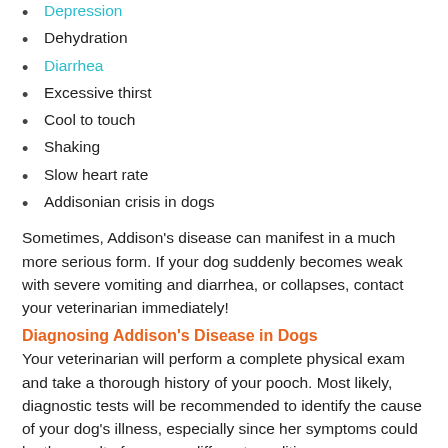Depression
Dehydration
Diarrhea
Excessive thirst
Cool to touch
Shaking
Slow heart rate
Addisonian crisis in dogs
Sometimes, Addison’s disease can manifest in a much more serious form. If your dog suddenly becomes weak with severe vomiting and diarrhea, or collapses, contact your veterinarian immediately!
Diagnosing Addison’s Disease in Dogs
Your veterinarian will perform a complete physical exam and take a thorough history of your pooch. Most likely, diagnostic tests will be recommended to identify the cause of your dog's illness, especially since her symptoms could be the result of so many different conditions.
These tests may include:
Chemistry tests to evaluate kidney, liver, and pancreatic